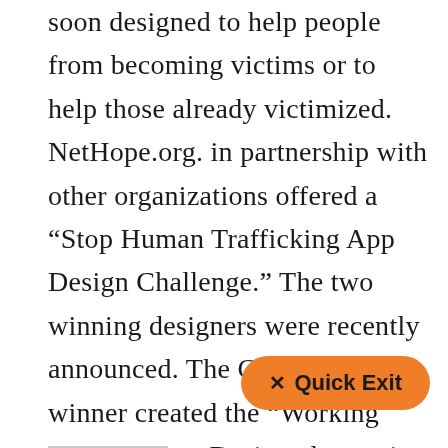soon designed to help people from becoming victims or to help those already victimized. NetHope.org. in partnership with other organizations offered a “Stop Human Trafficking App Design Challenge.” The two winning designers were recently announced. The Grand Prize winner created the “Working Abroad” app. Designed to assist those seeking to work in other countries, the app includes information to warn users about signs that they are being lured into the human trafficking. See video clips of the winne
[Figure (other): Orange rounded rectangle button with bold text '✕ Quick Exit']